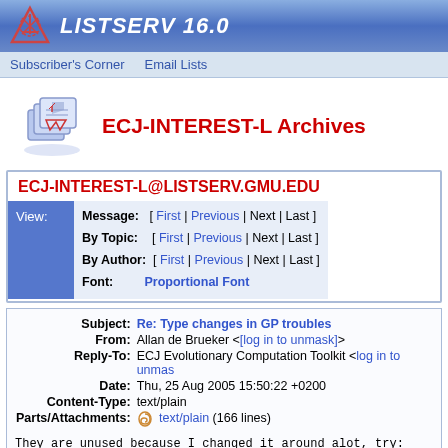LISTSERV 16.0
Subscriber's Corner  Email Lists
ECJ-INTEREST-L Archives
ECJ-INTEREST-L@LISTSERV.GMU.EDU
View: Message: [ First | Previous | Next | Last ] By Topic: [ First | Previous | Next | Last ] By Author: [ First | Previous | Next | Last ] Font: Proportional Font
| Field | Value |
| --- | --- |
| Subject: | Re: Type changes in GP troubles |
| From: | Allan de Brueker <[log in to unmask]> |
| Reply-To: | ECJ Evolutionary Computation Toolkit <[log in to unmask]> |
| Date: | Thu, 25 Aug 2005 15:50:22 +0200 |
| Content-Type: | text/plain |
| Parts/Attachments: | text/plain (166 lines) |
They are unused because I changed it around alot, try:
to get it to